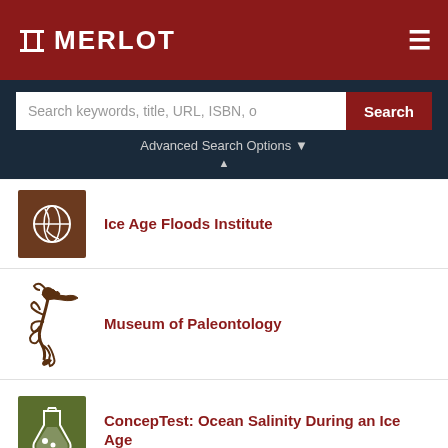MERLOT
Search keywords, title, URL, ISBN, o
Search
Advanced Search Options
Ice Age Floods Institute
Museum of Paleontology
ConcepTest: Ocean Salinity During an Ice Age
The Raymond M. Alf Museum of Paleontology